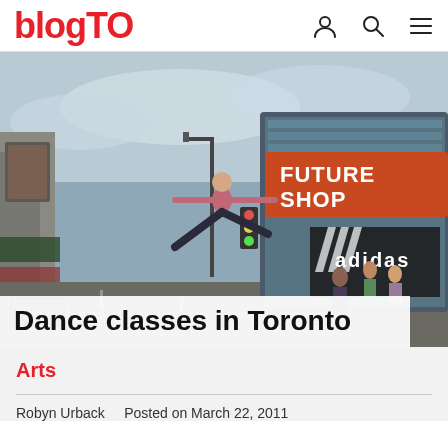blogTO
[Figure (photo): A dancer leaping on a busy Toronto street (Yonge Street) with the Future Shop building and Adidas store visible in the background, surrounded by pedestrians and city traffic.]
Dance classes in Toronto
Arts
Robyn Urback   Posted on March 22, 2011